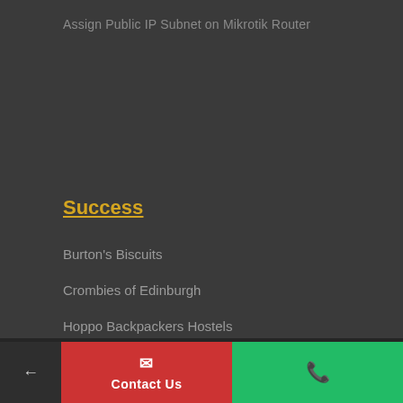Assign Public IP Subnet on Mikrotik Router
Success
Burton's Biscuits
Crombies of Edinburgh
Hoppo Backpackers Hostels
Glen-Net Community Broadband
Renaissance Club
← Contact Us ✆